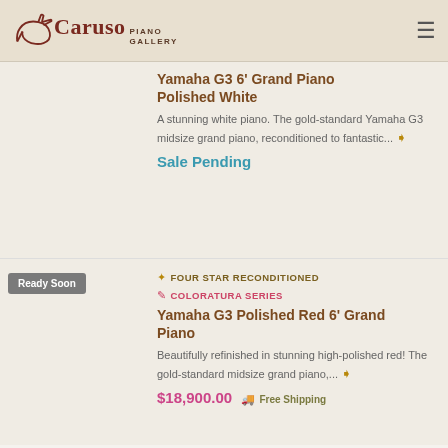Caruso Piano Gallery
Yamaha G3 6' Grand Piano Polished White
A stunning white piano. The gold-standard Yamaha G3 midsize grand piano, reconditioned to fantastic...
Sale Pending
Ready Soon
FOUR STAR RECONDITIONED COLORATURA SERIES
Yamaha G3 Polished Red 6' Grand Piano
Beautifully refinished in stunning high-polished red! The gold-standard midsize grand piano,...
$18,900.00 Free Shipping
Sale Pending
FOUR STAR RECONDITIONED